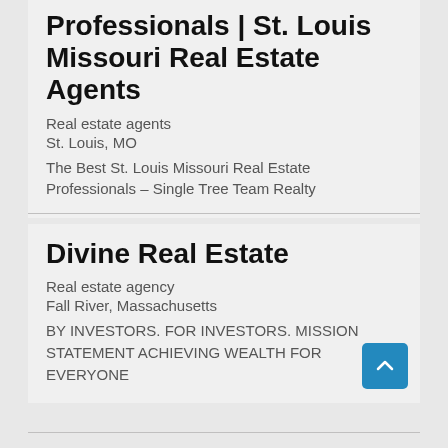Professionals | St. Louis Missouri Real Estate Agents
Real estate agents
St. Louis, MO
The Best St. Louis Missouri Real Estate Professionals – Single Tree Team Realty
Divine Real Estate
Real estate agency
Fall River, Massachusetts
BY INVESTORS. FOR INVESTORS. MISSION STATEMENT ACHIEVING WEALTH FOR EVERYONE